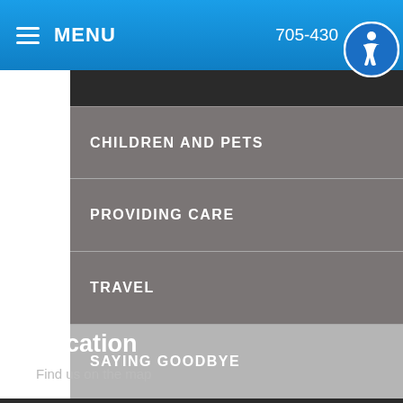MENU  705-43…0
CHILDREN AND PETS
PROVIDING CARE
TRAVEL
SAYING GOODBYE
Our Location
Location
Find us on the map